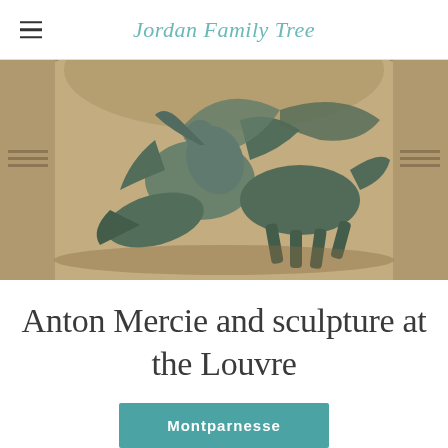Jordan Family Tree
[Figure (photo): Bronze sculptural group at the Louvre — dynamic figures of humans and animals in combat, mounted within a stone architectural niche with arched surround and decorative friezes.]
Anton Mercie and sculpture at the Louvre
Montparnesse